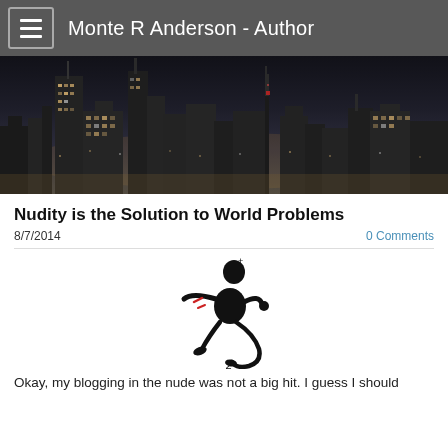Monte R Anderson - Author
[Figure (photo): Black and white cityscape/skyline at night with illuminated skyscrapers and towers]
Nudity is the Solution to World Problems
8/7/2014
0 Comments
[Figure (illustration): Cartoon stick figure / character running or stumbling, black ink with small red accent marks, appearing distressed or frantic]
Okay, my blogging in the nude was not a big hit. I guess I should